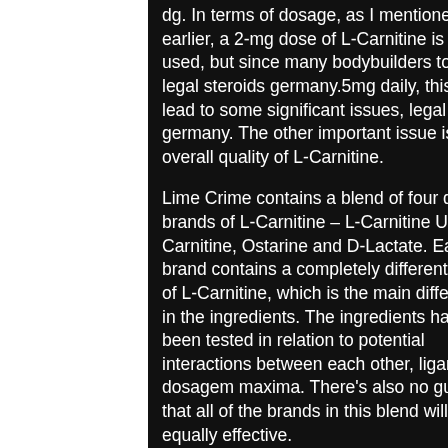dg. In terms of dosage, as I mentioned earlier, a 2-mg dose of L-Carnitine is often used, but since many bodybuilders took 2-1, legal steroids germany.5mg daily, this could lead to some significant issues, legal steroids germany. The other important issue is an overall quality of L-Carnitine.
Lime Crime contains a blend of four different brands of L-Carnitine – L-Carnitine Ultra, L-Carnitine, Ostarine and D-Lactate. Each brand contains a completely different amount of L-Carnitine, which is the main differences in the ingredients. The ingredients have not been tested in relation to potential interactions between each other, ligandrol dosagem maxima. There's also no guarantee that all of the brands in this blend will be equally effective.
What this leaves is to pick what's the best one for you and your needs, legal hgh gel.